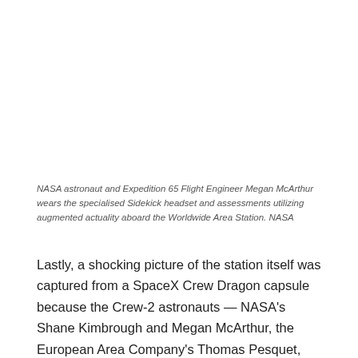NASA astronaut and Expedition 65 Flight Engineer Megan McArthur wears the specialised Sidekick headset and assessments utilizing augmented actuality aboard the Worldwide Area Station. NASA
Lastly, a shocking picture of the station itself was captured from a SpaceX Crew Dragon capsule because the Crew-2 astronauts — NASA's Shane Kimbrough and Megan McArthur, the European Area Company's Thomas Pesquet, and Akihiko Hoshide from Japan's house company — departed the station in November: